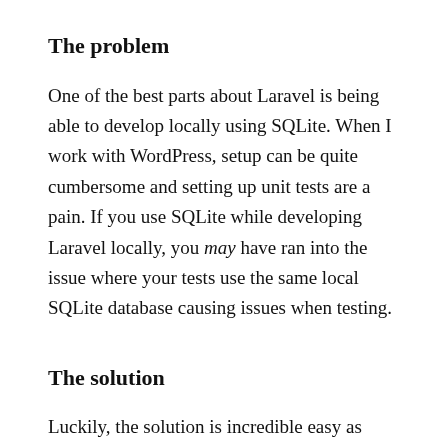The problem
One of the best parts about Laravel is being able to develop locally using SQLite. When I work with WordPress, setup can be quite cumbersome and setting up unit tests are a pain. If you use SQLite while developing Laravel locally, you may have ran into the issue where your tests use the same local SQLite database causing issues when testing.
The solution
Luckily, the solution is incredible easy as PHPUnit allows you to specify php environment